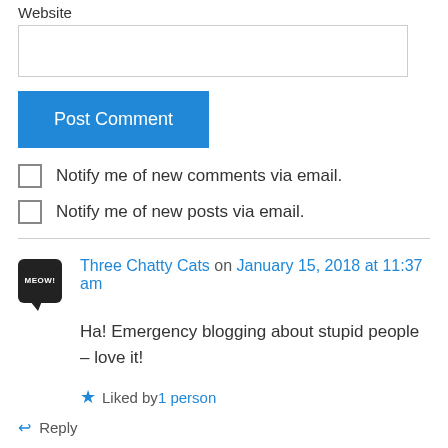Website
[Website input field]
Post Comment
Notify me of new comments via email.
Notify me of new posts via email.
Three Chatty Cats on January 15, 2018 at 11:37 am
Ha! Emergency blogging about stupid people – love it!
Liked by 1 person
Reply